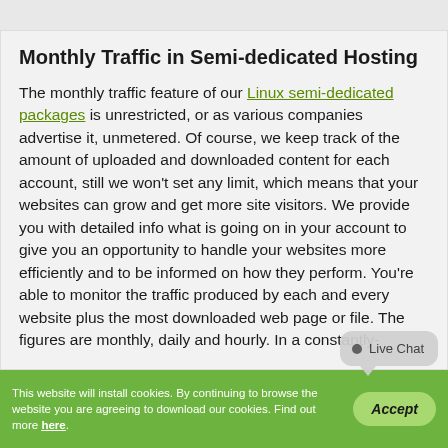Monthly Traffic in Semi-dedicated Hosting
The monthly traffic feature of our Linux semi-dedicated packages is unrestricted, or as various companies advertise it, unmetered. Of course, we keep track of the amount of uploaded and downloaded content for each account, still we won't set any limit, which means that your websites can grow and get more site visitors. We provide you with detailed info what is going on in your account to give you an opportunity to handle your websites more efficiently and to be informed on how they perform. You're able to monitor the traffic produced by each and every website plus the most downloaded web page or file. The figures are monthly, daily and hourly. In a constantly-
This website will install cookies. By continuing to browse the website you are agreeing to download our cookies. Find out more here.